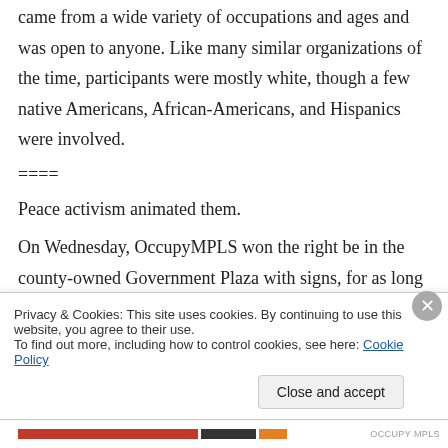came from a wide variety of occupations and ages and was open to anyone. Like many similar organizations of the time, participants were mostly white, though a few native Americans, African-Americans, and Hispanics were involved.
====
Peace activism animated them.
On Wednesday, OccupyMPLS won the right be in the county-owned Government Plaza with signs, for as long as they want. The federal
Privacy & Cookies: This site uses cookies. By continuing to use this website, you agree to their use.
To find out more, including how to control cookies, see here: Cookie Policy
Close and accept